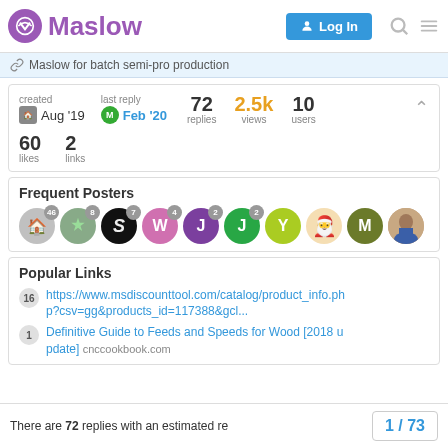Maslow — Log In
Maslow for batch semi-pro production
| created | last reply | replies | views | users |
| --- | --- | --- | --- | --- |
| Aug '19 | Feb '20 | 72 | 2.5k | 10 |
60 likes  2 links
Frequent Posters
[Figure (other): Row of user avatars with post counts: 46, 8, 7, 4, 2, 2, Y, cartoon, M, photo]
Popular Links
16 https://www.msdiscounttool.com/catalog/product_info.php?csv=gg&products_id=117388&gcl...
1 Definitive Guide to Feeds and Speeds for Wood [2018 update] cnccookbook.com
There are 72 replies with an estimated re
1 / 73